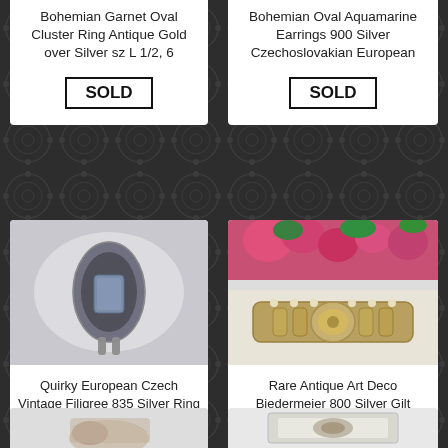Bohemian Garnet Oval Cluster Ring Antique Gold over Silver sz L 1/2, 6
SOLD
Bohemian Oval Aquamarine Earrings 900 Silver Czechoslovakian European
SOLD
[Figure (photo): Silver ring with rectangular blue-grey stone in dark metal setting, on light grey background]
Quirky European Czech Vintage Filigree 835 Silver Ring with Simulated Aquamarine Bohemian
SOLD
[Figure (photo): Ornate gold-tone expandable bracelet with moon and star feature, displayed with pink roses in background]
Rare Antique Art Deco Biedermeier 800 Silver Gilt Expandable Bracelet with Moon and Star Feature
AUD $287.00
[Figure (photo): Partial photo of a ring being held, light background, bottom of page]
[Figure (photo): Partial photo of a ring in a display box, bottom of page]